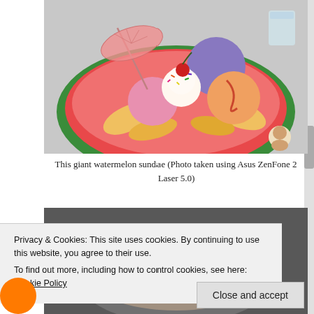[Figure (photo): A giant watermelon bowl filled with colorful ice cream scoops (purple, pink, orange, white with sprinkles and cherry on top) and fruit slices, with a decorative paper umbrella. A small cartoon avatar watermark is visible in bottom-right.]
This giant watermelon sundae (Photo taken using Asus ZenFone 2 Laser 5.0)
[Figure (photo): A partially visible photo of what appears to be a dessert in a glass bowl with cream, on a dark background.]
Privacy & Cookies: This site uses cookies. By continuing to use this website, you agree to their use.
To find out more, including how to control cookies, see here: Cookie Policy
Close and accept